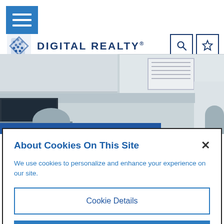[Figure (logo): Digital Realty logo with hamburger menu button, search and star icon buttons in the navigation header]
[Figure (photo): Interior office/data center photo showing ceiling panels, monitors, and people, with a blue address overlay showing '36 Ne 2nd Street, Miami']
About Cookies On This Site
We use cookies to personalize and enhance your experience on our site.
Cookie Details
Decline All